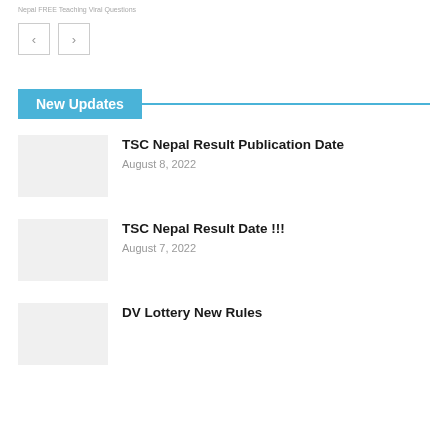Nepal FREE Teaching Viral Questions
New Updates
TSC Nepal Result Publication Date
August 8, 2022
TSC Nepal Result Date !!!
August 7, 2022
DV Lottery New Rules